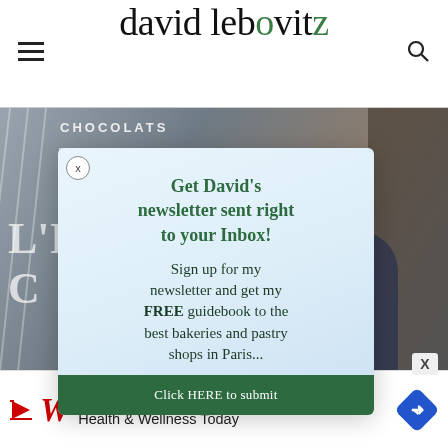david lebovitz
[Figure (photo): Storefront photo showing chocolat shop window with text 'CHOCOLATS', 'DAN', 'L'IN', 'C' visible through glass; a person in blue jacket visible]
Get David's newsletter sent right to your Inbox!
Sign up for my newsletter and get my FREE guidebook to the best bakeries and pastry shops in Paris...
Click HERE to submit
[Figure (infographic): Walgreens advertisement: Shop Walgreens Brand Health & Wellness Today]